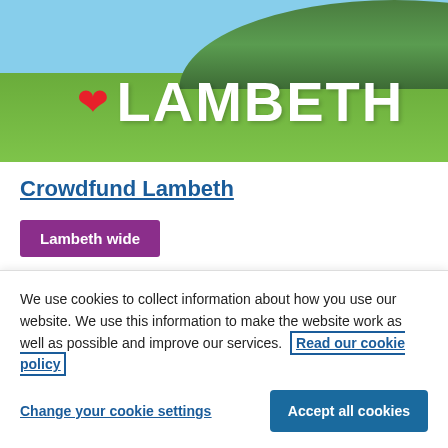[Figure (photo): Outdoor photo showing large white LAMBETH letters sign with a red heart, set on green grass with trees in background and blue sky]
Crowdfund Lambeth
Lambeth wide
Crowdfund Lambeth supports community
We use cookies to collect information about how you use our website. We use this information to make the website work as well as possible and improve our services.  Read our cookie policy
Change your cookie settings
Accept all cookies